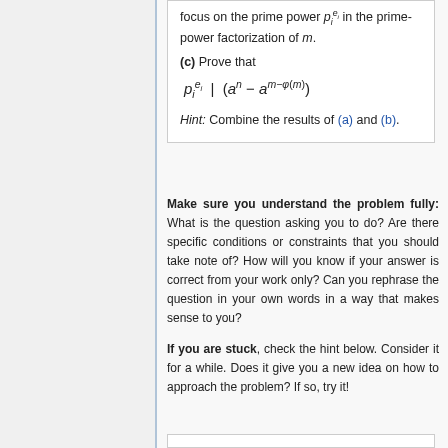focus on the prime power p_i^{e_i} in the prime-power factorization of m.
(c) Prove that
Hint: Combine the results of (a) and (b).
Make sure you understand the problem fully: What is the question asking you to do? Are there specific conditions or constraints that you should take note of? How will you know if your answer is correct from your work only? Can you rephrase the question in your own words in a way that makes sense to you?
If you are stuck, check the hint below. Consider it for a while. Does it give you a new idea on how to approach the problem? If so, try it!